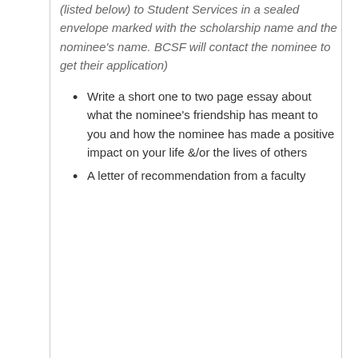(listed below) to Student Services in a sealed envelope marked with the scholarship name and the nominee's name. BCSF will contact the nominee to get their application)
Write a short one to two page essay about what the nominee's friendship has meant to you and how the nominee has made a positive impact on your life &/or the lives of others
A letter of recommendation from a faculty